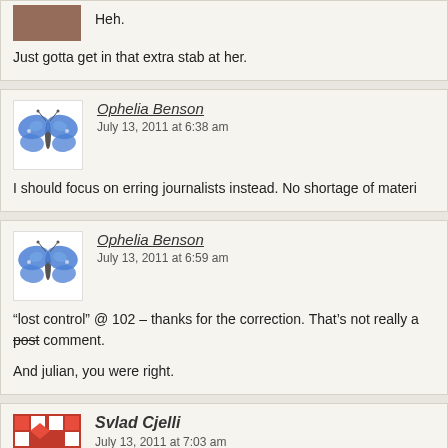Heh.
Just gotta get in that extra stab at her.
Ophelia Benson
July 13, 2011 at 6:38 am
I should focus on erring journalists instead. No shortage of materi
Ophelia Benson
July 13, 2011 at 6:59 am
“lost control” @ 102 – thanks for the correction. That’s not really a post comment.
And julian, you were right.
Svlad Cjelli
July 13, 2011 at 7:03 am